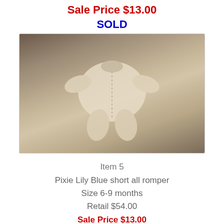Sale Price $13.00
SOLD
[Figure (photo): White baby romper/all-in-one garment laid flat on a white bedsheet, viewed from above]
Item 5
Pixie Lily Blue short all romper
Size 6-9 months
Retail $54.00
Sale Price $13.00
SOLD
[Figure (photo): White baby romper laid flat on a white bedsheet, partial view from top]